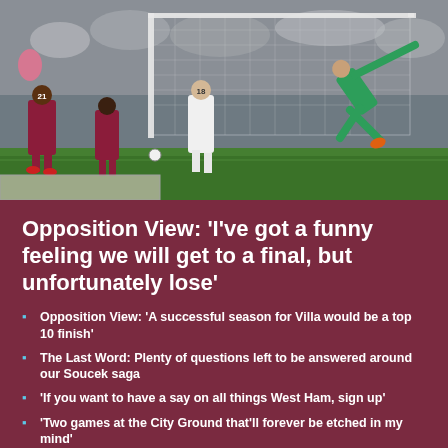[Figure (photo): Football match action photo showing players near a goal, with a goalkeeper diving to make a save. Players wearing claret/maroon and white kits, goalkeeper in green. Stadium crowd visible in background behind a net.]
Opposition View: 'I've got a funny feeling we will get to a final, but unfortunately lose'
Opposition View: 'A successful season for Villa would be a top 10 finish'
The Last Word: Plenty of questions left to be answered around our Soucek saga
'If you want to have a say on all things West Ham, sign up'
'Two games at the City Ground that'll forever be etched in my mind'